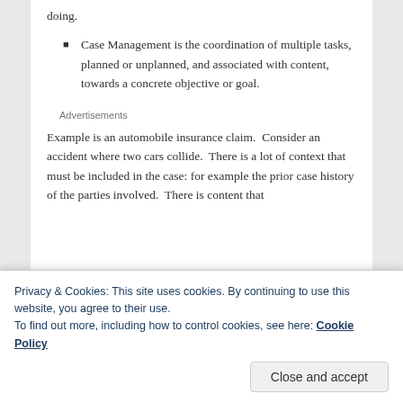doing.
Case Management is the coordination of multiple tasks, planned or unplanned, and associated with content, towards a concrete objective or goal.
Advertisements
Example is an automobile insurance claim.  Consider an accident where two cars collide.  There is a lot of context that must be included in the case: for example the prior case history of the parties involved.  There is content that
Privacy & Cookies: This site uses cookies. By continuing to use this website, you agree to their use.
To find out more, including how to control cookies, see here: Cookie Policy